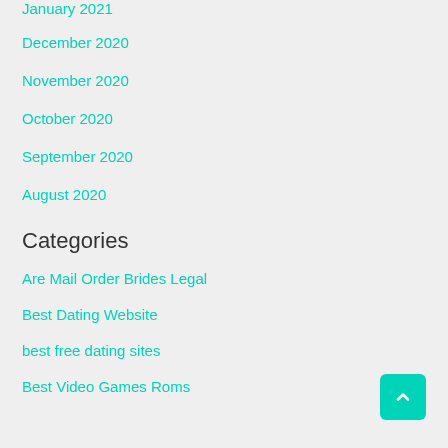January 2021
December 2020
November 2020
October 2020
September 2020
August 2020
Categories
Are Mail Order Brides Legal
Best Dating Website
best free dating sites
Best Video Games Roms
Find A Bride
Find A Bride Online
Foreign Brides